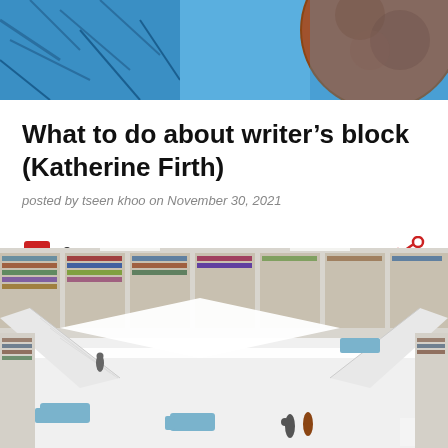[Figure (photo): Top portion of an outdoor sculpture against a blue sky with bare trees, showing a large rust-colored circular disc]
What to do about writer's block (Katherine Firth)
posted by tseen khoo on November 30, 2021
0
[Figure (photo): Interior of a modern multi-story library with white shelves filled with books, spiral staircases, blue seating areas, and two people walking on the ground floor. Number 7 visible in lower right corner.]